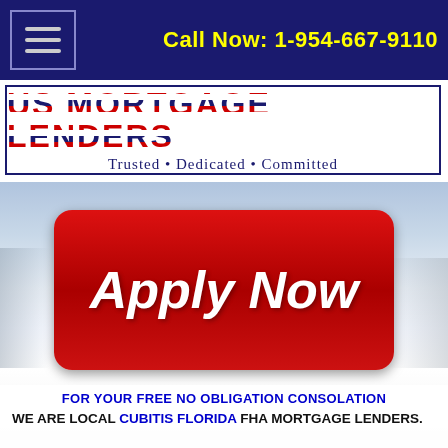Call Now: 1-954-667-9110
[Figure (logo): US Mortgage Lenders logo with striped red/white/blue text and tagline: Trusted • Dedicated • Committed]
[Figure (other): Large red Apply Now button on a scenic background]
FOR YOUR FREE NO OBLIGATION CONSOLATION
WE ARE LOCAL CUBITIS FLORIDA FHA MORTGAGE LENDERS.